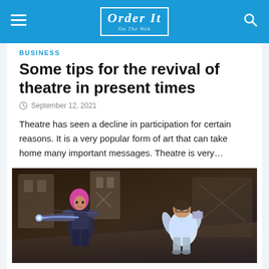Order It On The Web
BUSINESS
Some tips for the revival of theatre in present times
September 12, 2021
Theatre has seen a decline in participation for certain reasons. It is a very popular form of art that can take home many important messages. Theatre is very…
[Figure (photo): Screenshot from a video game showing two animated characters in combat — a pink-haired character with a weapon on the left and a character in a white outfit on the right, in a sci-fi setting.]